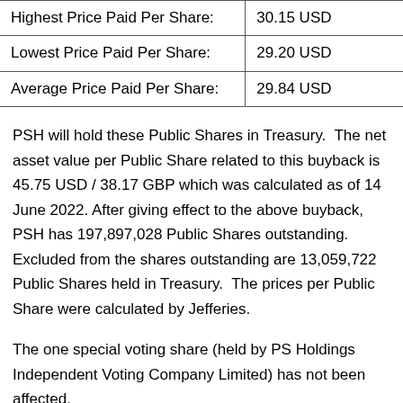| Highest Price Paid Per Share: | 30.15 USD |
| Lowest Price Paid Per Share: | 29.20 USD |
| Average Price Paid Per Share: | 29.84 USD |
PSH will hold these Public Shares in Treasury. The net asset value per Public Share related to this buyback is 45.75 USD / 38.17 GBP which was calculated as of 14 June 2022. After giving effect to the above buyback, PSH has 197,897,028 Public Shares outstanding. Excluded from the shares outstanding are 13,059,722 Public Shares held in Treasury. The prices per Public Share were calculated by Jefferies.
The one special voting share (held by PS Holdings Independent Voting Company Limited) has not been affected.